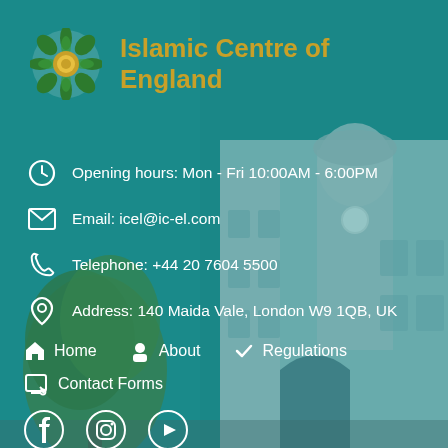[Figure (photo): Background image of Islamic Centre of England building (white multi-story building with round tower) overlaid on teal background, with a tree in the foreground left]
[Figure (logo): Circular floral/rosette logo with green petals and gold/yellow center representing Islamic Centre of England]
Islamic Centre of England
Opening hours: Mon - Fri 10:00AM - 6:00PM
Email: icel@ic-el.com
Telephone: +44 20 7604 5500
Address: 140 Maida Vale, London W9 1QB, UK
Home
About
Regulations
Contact Forms
[Figure (other): Social media icons: Facebook, Instagram, YouTube]